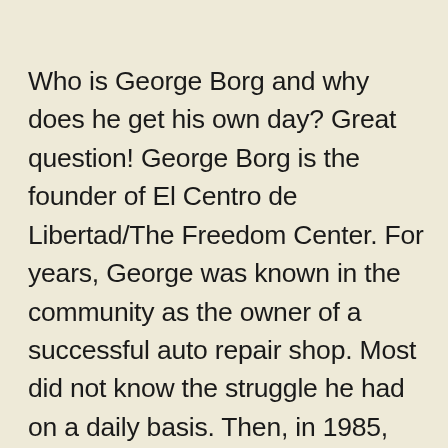Who is George Borg and why does he get his own day? Great question! George Borg is the founder of El Centro de Libertad/The Freedom Center. For years, George was known in the community as the owner of a successful auto repair shop. Most did not know the struggle he had on a daily basis. Then, in 1985, the unexpected happened. After nearly thirty years of addiction to drugs and alcohol, George entered and completed the Alcohol and Drug Rehabilitation Program at Sequoia Hospital. Instead of fixing cars, he decided to spend his life helping people find and maintain recovery. “You have to experience recovery to want more of it”, he said. George understood that the gift of